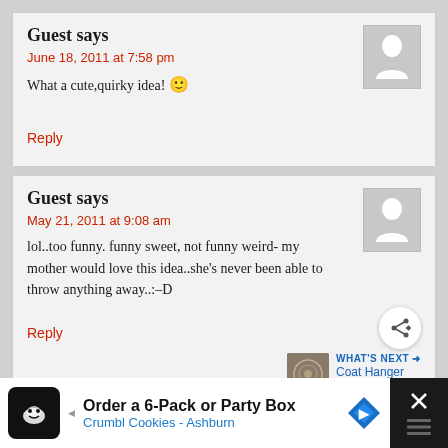Guest says
June 18, 2011 at 7:58 pm
What a cute,quirky idea! 🙂
Reply
Guest says
May 21, 2011 at 9:08 am
lol..too funny. funny sweet, not funny weird- my mother would love this idea..she's never been able to throw anything away..:–D
Reply
Guest says
WHAT'S NEXT → Coat Hanger Christmas...
Order a 6-Pack or Party Box Crumbl Cookies - Ashburn